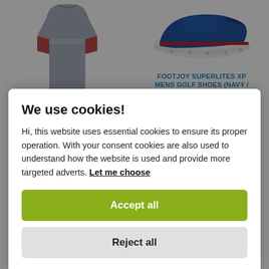[Figure (photo): Product image of a grey/red long-sleeve shirt (Footjoy Engineered Chest Stripe Chill Out) in the left column, partially visible]
FOOTJOY ENGINEERED CHEST STRIPE CHILL OUT (GRAPHITE / CORAL)
[Figure (photo): Product image of a navy/red golf shoe (Footjoy Superlites XP) in the right column, partially visible]
FOOTJOY SUPERLITES XP MENS GOLF SHOES (NAVY / RED)
We use cookies!
Hi, this website uses essential cookies to ensure its proper operation. With your consent cookies are also used to understand how the website is used and provide more targeted adverts. Let me choose
Accept all
Reject all
UNDER ARMOUR MENS